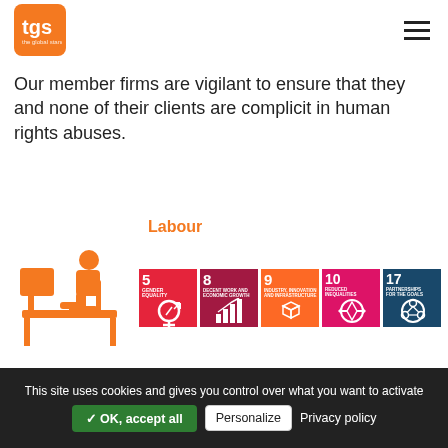TGS logo and navigation menu
Our member firms are vigilant to ensure that they and none of their clients are complicit in human rights abuses.
Labour
[Figure (illustration): Orange icon of a person sitting at a desk working at a computer, alongside SDG icons: 5 Gender Equality, 8 Decent Work and Economic Growth, 9 Industry Innovation and Infrastructure, 10 Reduced Inequalities, 17 Partnerships for the Goals]
TGS member firms are dedicated to ensuring that all
This site uses cookies and gives you control over what you want to activate  ✓ OK, accept all  Personalize  Privacy policy